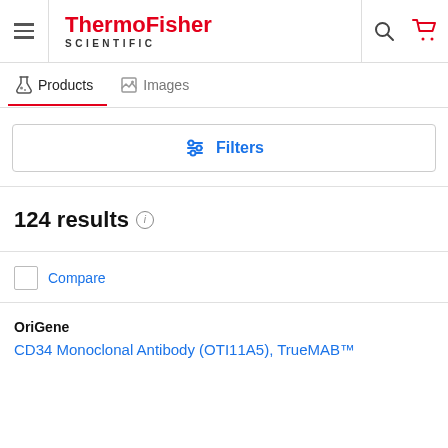ThermoFisher SCIENTIFIC
Products | Images
Filters
124 results
Compare
OriGene
CD34 Monoclonal Antibody (OTI11A5), TrueMAB™